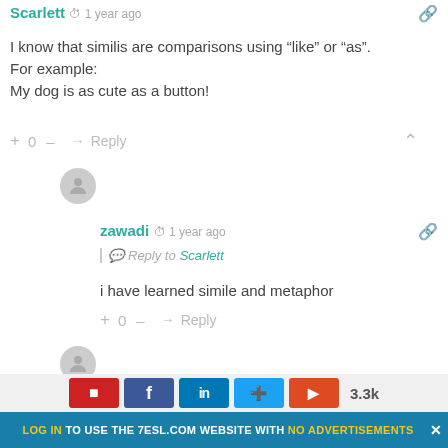Scarlett · 1 year ago
I know that similis are comparisons using “like” or “as”.
For example:
My dog is as cute as a button!
+ 0 – ↳ Reply
[Figure (illustration): Gray avatar icon (user silhouette)]
zawadi · 1 year ago
Reply to Scarlett
i have learned simile and metaphor
+ 0 – ↳ Reply
[Figure (illustration): Gray avatar icon (user silhouette)]
LOG IN TO USE THE 7ESL.COM WEBSITE WITH NO ADVERTISEMENTS